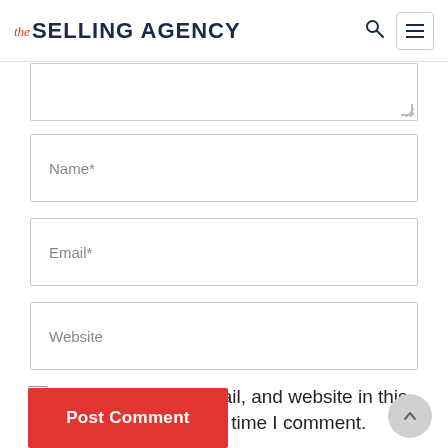the SELLING AGENCY
[Figure (screenshot): Partial textarea input field (comment box, top cropped), with resize handle at bottom-right]
Name*
Email*
Website
Save my name, email, and website in this browser for the next time I comment.
Post Comment